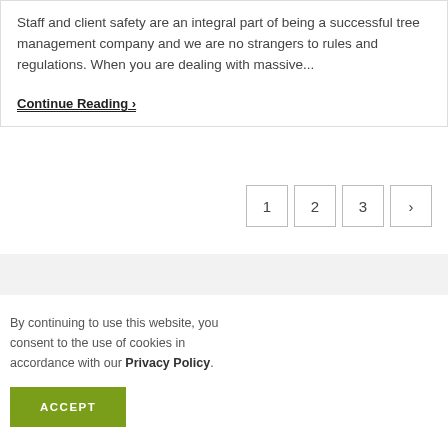Staff and client safety are an integral part of being a successful tree management company and we are no strangers to rules and regulations. When you are dealing with massive...
Continue Reading ›
1 2 3 ›
By continuing to use this website, you consent to the use of cookies in accordance with our Privacy Policy.
ACCEPT